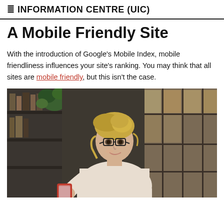≢ INFORMATION CENTRE (UIC)
A Mobile Friendly Site
With the introduction of Google's Mobile Index, mobile friendliness influences your site's ranking. You may think that all sites are mobile friendly, but this isn't the case.
[Figure (photo): A young woman with glasses and blonde hair smiling while looking at a red smartphone, standing in front of a bookshelf and large windows with plants in the background.]